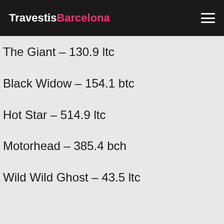TravestisBarcelona
The Giant – 130.9 ltc
Black Widow – 154.1 btc
Hot Star – 514.9 ltc
Motorhead – 385.4 bch
Wild Wild Ghost – 43.5 ltc